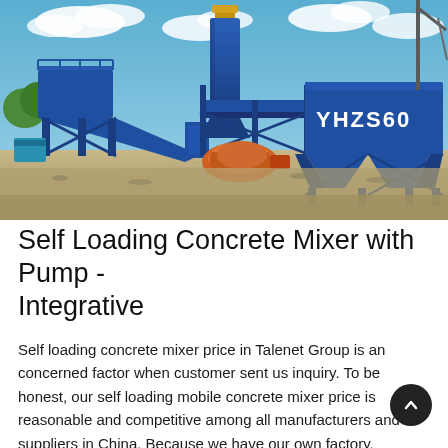[Figure (photo): Photo of a large blue YHZS60 concrete batching plant on a construction site, with a cylindrical silo, conveyor belt structure, and aggregate storage bins labeled 'YHZS60'. A concrete mixer truck is visible in the background. The foreground shows gravel ground.]
Self Loading Concrete Mixer with Pump - Integrative
Self loading concrete mixer price in Talenet Group is an concerned factor when customer sent us inquiry. To be honest, our self loading mobile concrete mixer price is reasonable and competitive among all manufacturers and suppliers in China. Because we have our own factory,